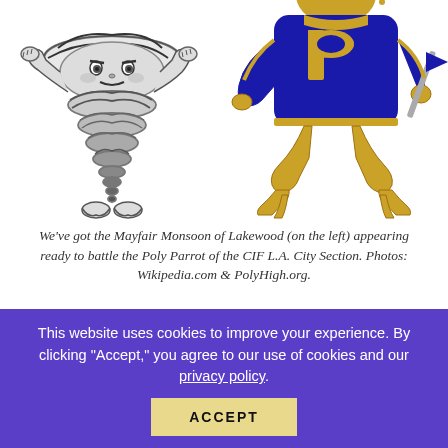[Figure (illustration): Two school mascots side by side: on the left, the Mayfair Monsoon (a tornado cartoon character with arms and a face), and on the right, the Poly Parrot (a character in a blue and gold letterman uniform with a 'P' on the chest, holding a pennant).]
We've got the Mayfair Monsoon of Lakewood (on the left) appearing ready to battle the Poly Parrot of the CIF L.A. City Section. Photos: Wikipedia.com & PolyHigh.org.
Go through this list and see how many of these nicknames that you like the best as well, and to see the prerequisites for what we think is a great school mascot name. Then be sure to check
This website uses cookies to improve your experience. By clicking "Accept," you agree to our use of cookies and our privacy policy.